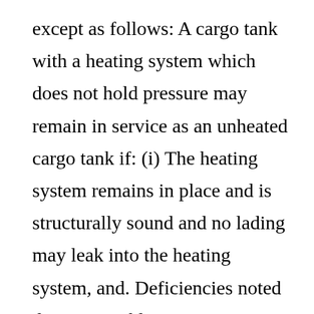except as follows: A cargo tank with a heating system which does not hold pressure may remain in service as an unheated cargo tank if: (i) The heating system remains in place and is structurally sound and no lading may leak into the heating system, and. Deficiencies noted during monthly inspections must be corrected as soon as possible. The following Tables I and II identify the “In-Service Minimum Thickness” values to be used to determine the